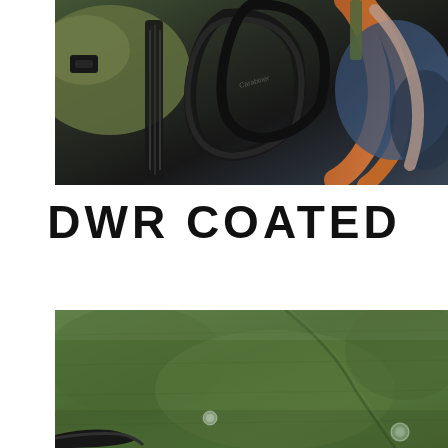[Figure (photo): Close-up photograph of climbing gear including carabiners, ropes, and harnesses in various colors including black, green, orange, and blue]
DWR COATED
[Figure (photo): Close-up photograph of a green fabric or textile surface showing texture and water droplets, with a black strap or buckle visible at the bottom]